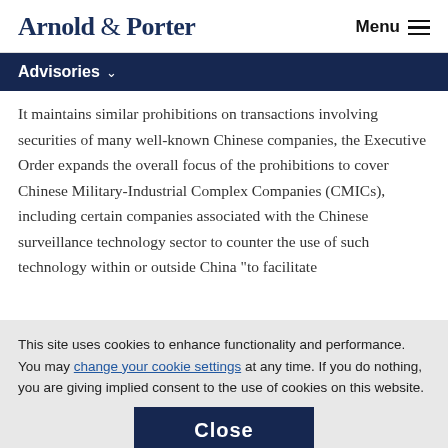Arnold & Porter   Menu
Advisories
It maintains similar prohibitions on transactions involving securities of many well-known Chinese companies, the Executive Order expands the overall focus of the prohibitions to cover Chinese Military-Industrial Complex Companies (CMICs), including certain companies associated with the Chinese surveillance technology sector to counter the use of such technology within or outside China "to facilitate
This site uses cookies to enhance functionality and performance. You may change your cookie settings at any time. If you do nothing, you are giving implied consent to the use of cookies on this website.
Close